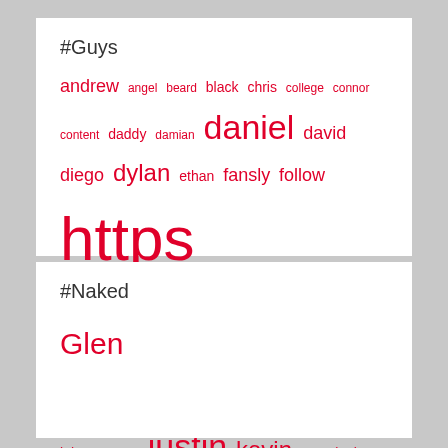#Guys
andrew angel beard black chris college connor content daddy damian daniel david diego dylan ethan fansly follow https instagram jackson jacob james johnny jonny justin kevin linktr louis lucas mario martin michael model muscle oliver onlyfans richard sasha scott teddy thomas tommy twitter tyler years
#Naked
Glen